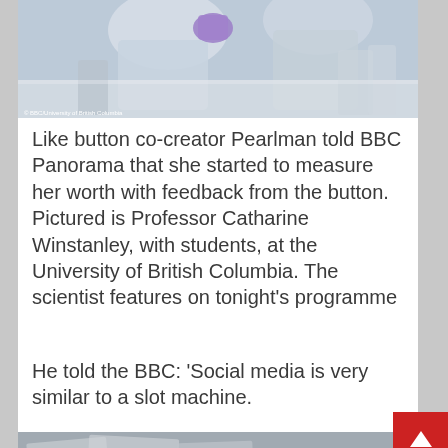[Figure (photo): Scientists or lab workers in blue coats and purple gloves working at a laboratory bench with equipment. Photo credit: © BBC/University of British Columbia]
Like button co-creator Pearlman told BBC Panorama that she started to measure her worth with feedback from the button. Pictured is Professor Catharine Winstanley, with students, at the University of British Columbia. The scientist features on tonight's programme
He told the BBC: 'Social media is very similar to a slot machine.
[Figure (photo): Partial view of documents or newspapers, bottom of page.]